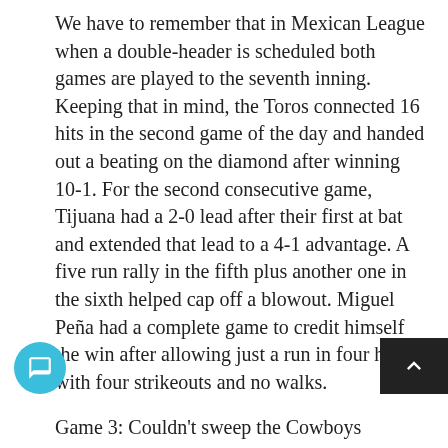We have to remember that in Mexican League when a double-header is scheduled both games are played to the seventh inning. Keeping that in mind, the Toros connected 16 hits in the second game of the day and handed out a beating on the diamond after winning 10-1. For the second consecutive game, Tijuana had a 2-0 lead after their first at bat and extended that lead to a 4-1 advantage. A five run rally in the fifth plus another one in the sixth helped cap off a blowout. Miguel Peña had a complete game to credit himself the win after allowing just a run in four hits with four strikeouts and no walks.
Game 3: Couldn't sweep the Cowboys
Dustin Martin had two runs batted in and Alex Romero had a pair of hits, but the Tijuana Toros